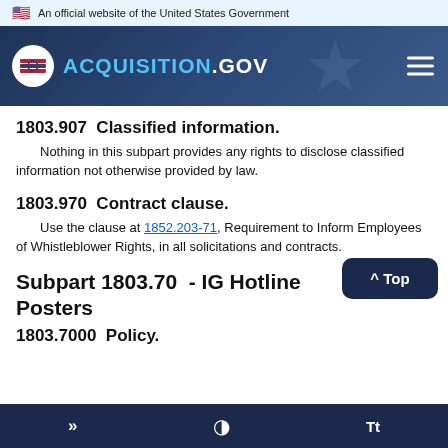An official website of the United States Government
[Figure (logo): ACQUISITION.GOV website header with logo and hamburger menu on dark blue background]
1803.907  Classified information.
Nothing in this subpart provides any rights to disclose classified information not otherwise provided by law.
1803.970  Contract clause.
Use the clause at 1852.203-71, Requirement to Inform Employees of Whistleblower Rights, in all solicitations and contracts.
Subpart 1803.70  - IG Hotline Posters
1803.7000  Policy.